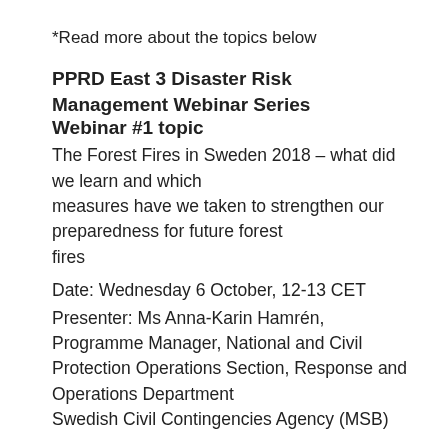*Read more about the topics below
PPRD East 3 Disaster Risk Management Webinar Series
Webinar #1 topic
The Forest Fires in Sweden 2018 – what did we learn and which measures have we taken to strengthen our preparedness for future forest fires
Date: Wednesday 6 October, 12-13 CET
Presenter: Ms Anna-Karin Hamrén, Programme Manager, National and Civil Protection Operations Section, Response and Operations Department Swedish Civil Contingencies Agency (MSB)
Registration: Webinar Registration - Zoom
Description: